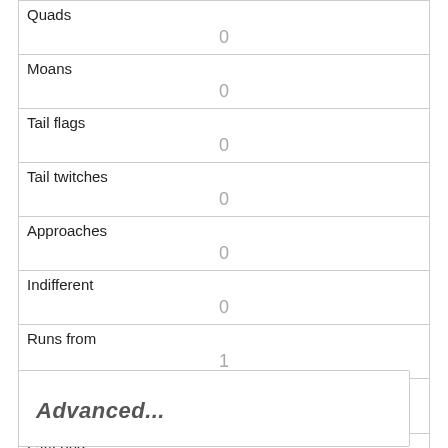| Field | Value |
| --- | --- |
| Quads | 0 |
| Moans | 0 |
| Tail flags | 0 |
| Tail twitches | 0 |
| Approaches | 0 |
| Indifferent | 0 |
| Runs from | 1 |
| Other Interactions |  |
| Lat/Long | POINT (-73.9650120066074 40.78059328824071) |
Advanced...